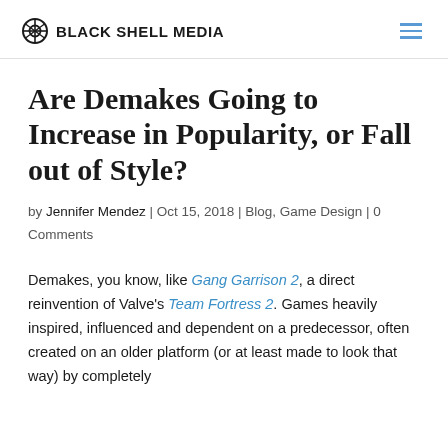Black Shell Media
Are Demakes Going to Increase in Popularity, or Fall out of Style?
by Jennifer Mendez | Oct 15, 2018 | Blog, Game Design | 0 Comments
Demakes, you know, like Gang Garrison 2, a direct reinvention of Valve's Team Fortress 2. Games heavily inspired, influenced and dependent on a predecessor, often created on an older platform (or at least made to look that way) by completely